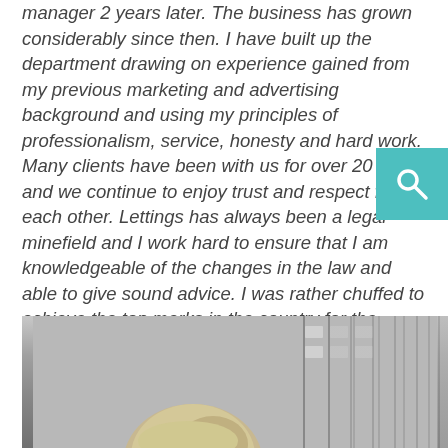manager 2 years later. The business has grown considerably since then. I have built up the department drawing on experience gained from my previous marketing and advertising background and using my principles of professionalism, service, honesty and hard work. Many clients have been with us for over 20 years and we continue to enjoy trust and respect for each other. Lettings has always been a legal minefield and I work hard to ensure that I am knowledgeable of the changes in the law and able to give sound advice. I was rather chuffed to achieve the top marks in the country for the industry legal exam. The internet has changed our business enormously. The technology we have now is incredible - it's another world compared to the old days. I still believe in my old fashioned principles.
[Figure (photo): Black and white photo of a person outdoors with a brick building in the background, showing the top of their head/hair, cropped at the bottom of the page]